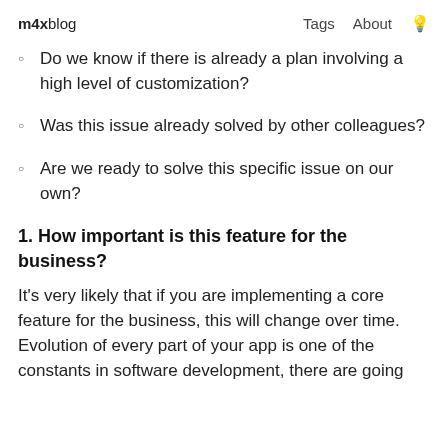m4x blog  Tags  About
Do we know if there is already a plan involving a high level of customization?
Was this issue already solved by other colleagues?
Are we ready to solve this specific issue on our own?
1. How important is this feature for the business?
It's very likely that if you are implementing a core feature for the business, this will change over time. Evolution of every part of your app is one of the constants in software development, there are going